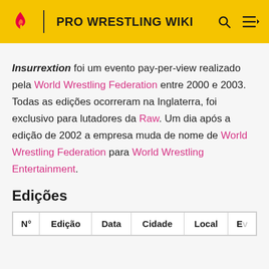PRO WRESTLING WIKI
Insurrextion foi um evento pay-per-view realizado pela World Wrestling Federation entre 2000 e 2003. Todas as edições ocorreram na Inglaterra, foi exclusivo para lutadores da Raw. Um dia após a edição de 2002 a empresa muda de nome de World Wrestling Federation para World Wrestling Entertainment.
Edições
| Nº | Edição | Data | Cidade | Local | E... |
| --- | --- | --- | --- | --- | --- |